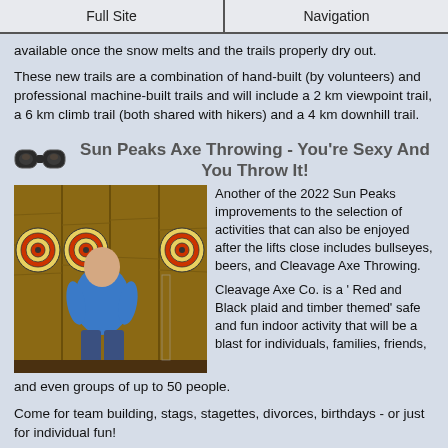Full Site | Navigation
available once the snow melts and the trails properly dry out.
These new trails are a combination of hand-built (by volunteers) and professional machine-built trails and will include a 2 km viewpoint trail, a 6 km climb trail (both shared with hikers) and a 4 km downhill trail.
Sun Peaks Axe Throwing - You're Sexy And You Throw It!
[Figure (photo): Person from behind throwing an axe at wooden target boards with bullseye circles in an indoor axe throwing venue]
Another of the 2022 Sun Peaks improvements to the selection of activities that can also be enjoyed after the lifts close includes bullseyes, beers, and Cleavage Axe Throwing.
Cleavage Axe Co. is a ' Red and Black plaid and timber themed' safe and fun indoor activity that will be a blast for individuals, families, friends, and even groups of up to 50 people.
Come for team building, stags, stagettes, divorces, birthdays - or just for individual fun!
There are 9 separate Sun Peaks axe throwing target areas, and their